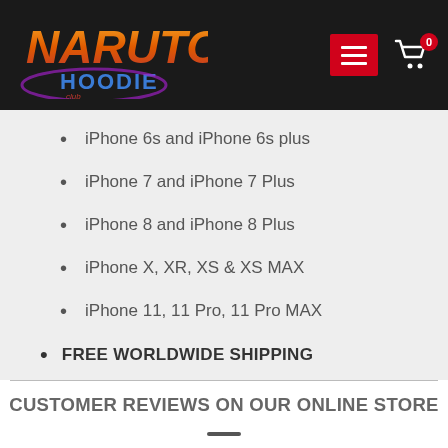[Figure (logo): Naruto Hoodie website logo with colorful stylized text on dark background, menu button, and shopping cart icon]
iPhone 6s and iPhone 6s plus
iPhone 7 and iPhone 7 Plus
iPhone 8 and iPhone 8 Plus
iPhone X, XR, XS & XS MAX
iPhone 11, 11 Pro, 11 Pro MAX
FREE WORLDWIDE SHIPPING
CUSTOMER REVIEWS ON OUR ONLINE STORE